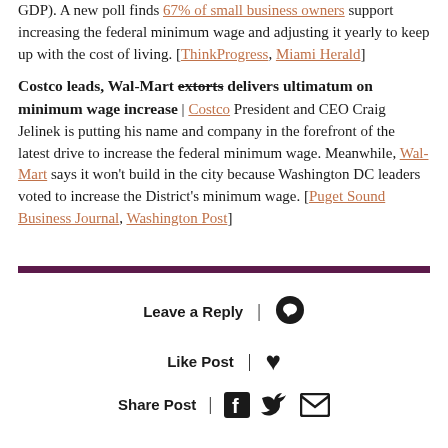GDP). A new poll finds 67% of small business owners support increasing the federal minimum wage and adjusting it yearly to keep up with the cost of living. [ThinkProgress, Miami Herald]
Costco leads, Wal-Mart extorts delivers ultimatum on minimum wage increase | Costco President and CEO Craig Jelinek is putting his name and company in the forefront of the latest drive to increase the federal minimum wage. Meanwhile, Wal-Mart says it won't build in the city because Washington DC leaders voted to increase the District's minimum wage. [Puget Sound Business Journal, Washington Post]
Leave a Reply | [icon]
Like Post | [heart icon]
Share Post | [facebook icon] [twitter icon] [email icon]